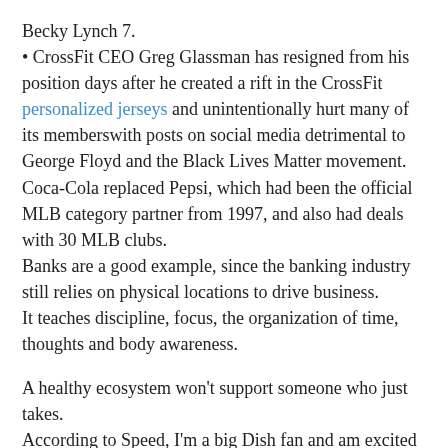Becky Lynch 7.
• CrossFit CEO Greg Glassman has resigned from his position days after he created a rift in the CrossFit personalized jerseys and unintentionally hurt many of its memberswith posts on social media detrimental to George Floyd and the Black Lives Matter movement. Coca-Cola replaced Pepsi, which had been the official MLB category partner from 1997, and also had deals with 30 MLB clubs.
Banks are a good example, since the banking industry still relies on physical locations to drive business.
It teaches discipline, focus, the organization of time, thoughts and body awareness.
A healthy ecosystem won't support someone who just takes.
According to Speed, I'm a big Dish fan and am excited to return to Daytona International Speedway Sunday with the Hopper riding shotgun.